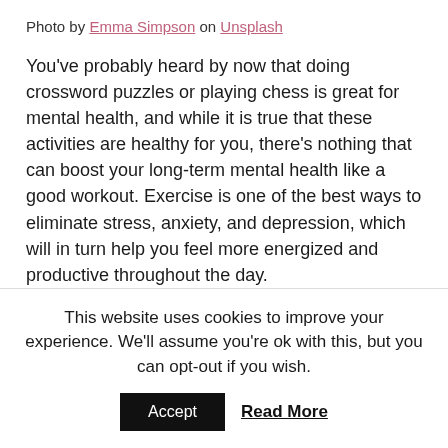Photo by Emma Simpson on Unsplash
You've probably heard by now that doing crossword puzzles or playing chess is great for mental health, and while it is true that these activities are healthy for you, there's nothing that can boost your long-term mental health like a good workout. Exercise is one of the best ways to eliminate stress, anxiety, and depression, which will in turn help you feel more energized and productive throughout the day.
But beyond its immediate effects, physical exercise is
This website uses cookies to improve your experience. We'll assume you're ok with this, but you can opt-out if you wish.
Accept   Read More